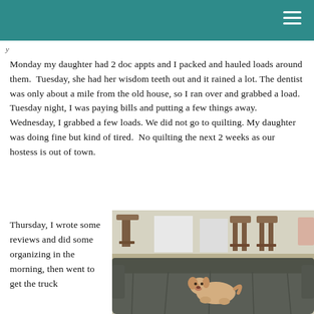y
Monday my daughter had 2 doc appts and I packed and hauled loads around them.  Tuesday, she had her wisdom teeth out and it rained a lot. The dentist was only about a mile from the old house, so I ran over and grabbed a load.  Tuesday night, I was paying bills and putting a few things away.  Wednesday, I grabbed a few loads. We did not go to quilting. My daughter was doing fine but kind of tired.  No quilting the next 2 weeks as our hostess is out of town.
Thursday, I wrote some reviews and did some organizing in the morning, then went to get the truck
[Figure (photo): Photo of a small light-colored dog resting on a dark gray sofa/couch draped with a gray cover, in a room with chairs and furniture visible in the background.]